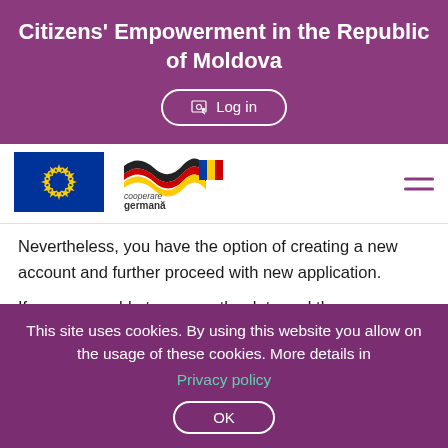Citizens' Empowerment in the Republic of Moldova
Log in
[Figure (logo): EU flag logo — blue background with yellow stars in a circle]
[Figure (logo): GIZ cooperare germana Deutsche Zusammenarbeit logo with German flag ribbon]
Nevertheless, you have the option of creating a new account and further proceed with new application.

If you are unable to access the data and the
This site uses cookies. By using this website you allow on the usage of these cookies. More details in
Privacy policy
OK